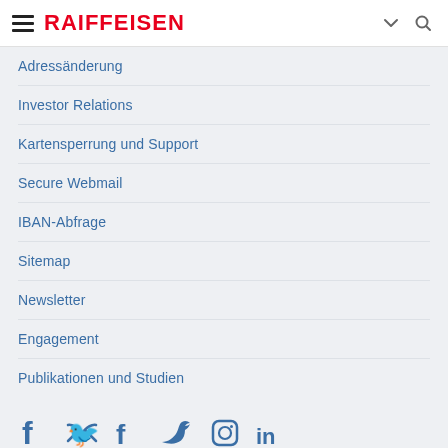RAIFFEISEN
Adressänderung
Investor Relations
Kartensperrung und Support
Secure Webmail
IBAN-Abfrage
Sitemap
Newsletter
Engagement
Publikationen und Studien
[Figure (logo): Social media icons: Facebook, Twitter, Instagram, LinkedIn]
©2022 Raiffeisenbank Schwarzwasser